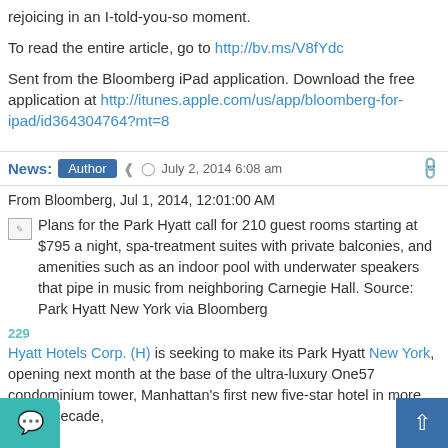rejoicing in an I-told-you-so moment.
To read the entire article, go to http://bv.ms/V8fYdc
Sent from the Bloomberg iPad application. Download the free application at http://itunes.apple.com/us/app/bloomberg-for-ipad/id364304764?mt=8
News: Author   July 2, 2014 6:08 am
From Bloomberg, Jul 1, 2014, 12:01:00 AM
Plans for the Park Hyatt call for 210 guest rooms starting at $795 a night, spa-treatment suites with private balconies, and amenities such as an indoor pool with underwater speakers that pipe in music from neighboring Carnegie Hall. Source: Park Hyatt New York via Bloomberg
Hyatt Hotels Corp. (H) is seeking to make its Park Hyatt New York, opening next month at the base of the ultra-luxury One57 condominium tower, Manhattan's first new five-star hotel in more than a decade,